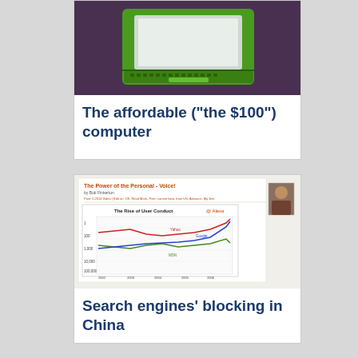[Figure (photo): Photo of a green affordable laptop computer ($100 laptop / OLPC)]
The affordable (“the $100”) computer
[Figure (screenshot): Screenshot of a blog article titled 'The Power of the Personal - Voice!' by Bob Finkerton, featuring a line chart showing web traffic data for major search engines including Yahoo, MSN, and Google over time from 2002 to 2006, with a small portrait photo of the author.]
Search engines’ blocking in China